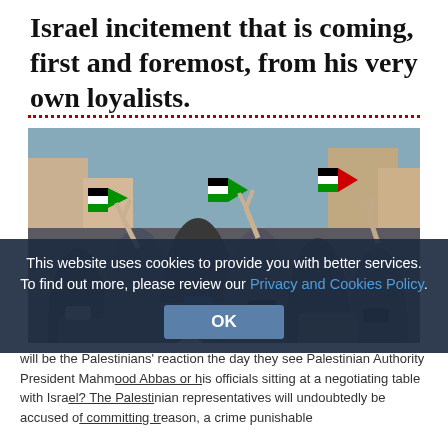Israel incitement that is coming, first and foremost, from his very own loyalists.
[Figure (photo): Crowd of protesters holding Palestinian flags and photos of Palestinian Authority President Mahmoud Abbas, making victory signs. People wearing face masks in an outdoor street setting.]
This website uses cookies to provide you with better services. To find out more, please review our Privacy and Cookies Policy.
OK
will be the Palestinians' reaction the day they see Palestinian Authority President Mahmood Abbas or his officials sitting at a negotiating table with Israel? The Palestinian representatives will undoubtedly be accused of committing treason, a crime punishable